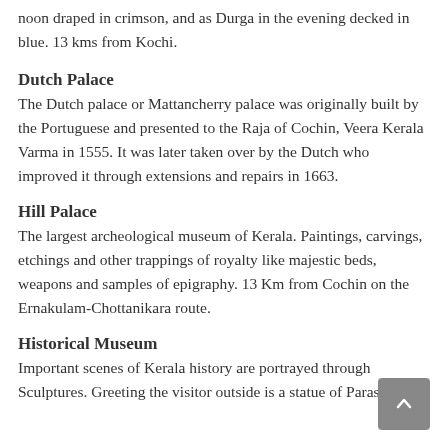noon draped in crimson, and as Durga in the evening decked in blue. 13 kms from Kochi.
Dutch Palace
The Dutch palace or Mattancherry palace was originally built by the Portuguese and presented to the Raja of Cochin, Veera Kerala Varma in 1555. It was later taken over by the Dutch who improved it through extensions and repairs in 1663.
Hill Palace
The largest archeological museum of Kerala. Paintings, carvings, etchings and other trappings of royalty like majestic beds, weapons and samples of epigraphy. 13 Km from Cochin on the Ernakulam-Chottanikara route.
Historical Museum
Important scenes of Kerala history are portrayed through Sculptures. Greeting the visitor outside is a statue of Parasurama,